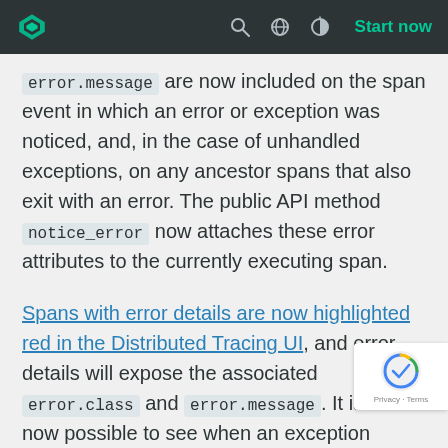New Relic logo | search | globe | theme toggle | Start now
error.message are now included on the span event in which an error or exception was noticed, and, in the case of unhandled exceptions, on any ancestor spans that also exit with an error. The public API method notice_error now attaches these error attributes to the currently executing span.
Spans with error details are now highlighted red in the Distributed Tracing UI, and error details will expose the associated error.class and error.message. It is a now possible to see when an exception leaves